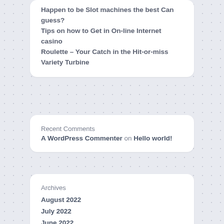Happen to be Slot machines the best Can guess?
Tips on how to Get in On-line Internet casino
Roulette – Your Catch in the Hit-or-miss Variety
Turbine
Recent Comments
A WordPress Commenter on Hello world!
Archives
August 2022
July 2022
June 2022
May 2022
April 2022